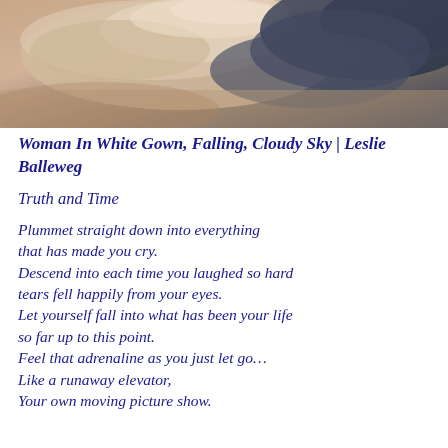[Figure (illustration): Painting of a cloudy sky with dramatic warm and cool tones — pinks, taupes, and dark blues/greys. A painterly, impressionistic rendering of clouds.]
Woman In White Gown, Falling, Cloudy Sky | Leslie Balleweg
Truth and Time
Plummet straight down into everything that has made you cry.
Descend into each time you laughed so hard tears fell happily from your eyes.
Let yourself fall into what has been your life so far up to this point.
Feel that adrenaline as you just let go…
Like a runaway elevator,
Your own moving picture show.